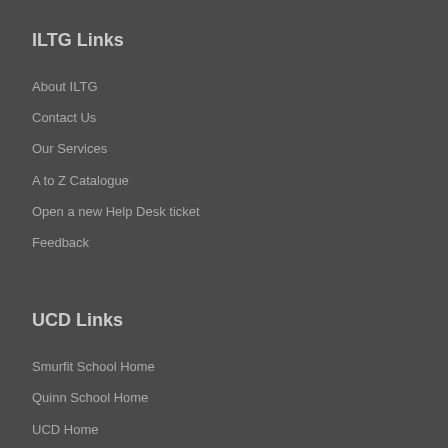ILTG Links
About ILTG
Contact Us
Our Services
A to Z Catalogue
Open a new Help Desk ticket
Feedback
UCD Links
Smurfit School Home
Quinn School Home
UCD Home